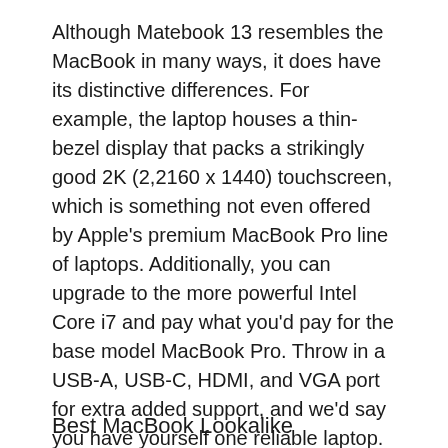Although Matebook 13 resembles the MacBook in many ways, it does have its distinctive differences. For example, the laptop houses a thin-bezel display that packs a strikingly good 2K (2,2160 x 1440) touchscreen, which is something not even offered by Apple's premium MacBook Pro line of laptops. Additionally, you can upgrade to the more powerful Intel Core i7 and pay what you'd pay for the base model MacBook Pro. Throw in a USB-A, USB-C, HDMI, and VGA port for extra added support, and we'd say you have yourself one reliable laptop.
Pros:
Cons:
Best MacBook Lookalike